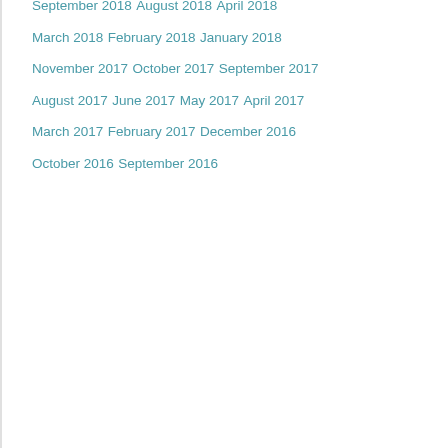September 2018
August 2018
April 2018
March 2018
February 2018
January 2018
November 2017
October 2017
September 2017
August 2017
June 2017
May 2017
April 2017
March 2017
February 2017
December 2016
October 2016
September 2016